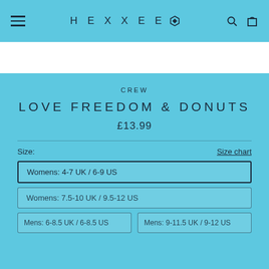HEXXEE
CREW
LOVE FREEDOM & DONUTS
£13.99
Size:
Size chart
Womens: 4-7 UK / 6-9 US
Womens: 7.5-10 UK / 9.5-12 US
Mens: 6-8.5 UK / 6-8.5 US
Mens: 9-11.5 UK / 9-12 US